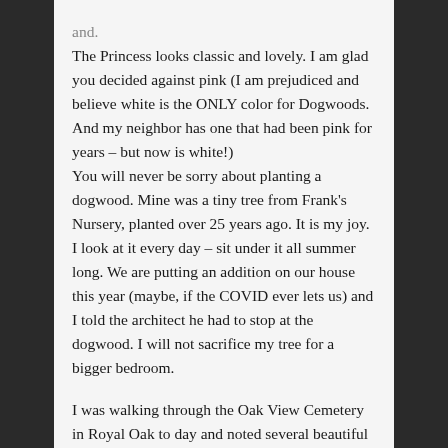The Princess looks classic and lovely. I am glad you decided against pink (I am prejudiced and believe white is the ONLY color for Dogwoods. And my neighbor has one that had been pink for years – but now is white!)
You will never be sorry about planting a dogwood. Mine was a tiny tree from Frank's Nursery, planted over 25 years ago. It is my joy. I look at it every day – sit under it all summer long. We are putting an addition on our house this year (maybe, if the COVID ever lets us) and I told the architect he had to stop at the dogwood. I will not sacrifice my tree for a bigger bedroom.

I was walking through the Oak View Cemetery in Royal Oak to day and noted several beautiful Dogwood specimens blooming there.